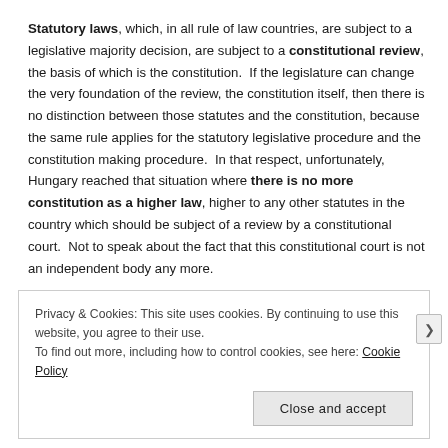Statutory laws, which, in all rule of law countries, are subject to a legislative majority decision, are subject to a constitutional review, the basis of which is the constitution.  If the legislature can change the very foundation of the review, the constitution itself, then there is no distinction between those statutes and the constitution, because the same rule applies for the statutory legislative procedure and the constitution making procedure.  In that respect, unfortunately, Hungary reached that situation where there is no more constitution as a higher law, higher to any other statutes in the country which should be subject of a review by a constitutional court.  Not to speak about the fact that this constitutional court is not an independent body any more.
Privacy & Cookies: This site uses cookies. By continuing to use this website, you agree to their use.
To find out more, including how to control cookies, see here: Cookie Policy
Close and accept